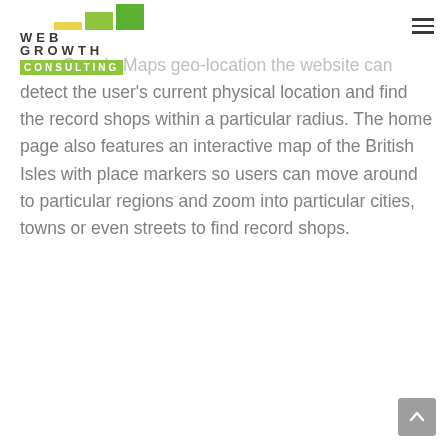WEB GROWTH CONSULTING
uses Google Maps geo-location the website can detect the user's current physical location and find the record shops within a particular radius. The home page also features an interactive map of the British Isles with place markers so users can move around to particular regions and zoom into particular cities, towns or even streets to find record shops.